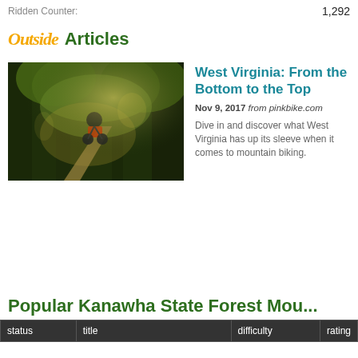Ridden Counter:    1,292
Outside Articles
[Figure (photo): Mountain biker riding through a forested trail with dappled sunlight filtering through trees]
West Virginia: From the Bottom to the Top
Nov 9, 2017 from pinkbike.com
Dive in and discover what West Virginia has up its sleeve when it comes to mountain biking.
Popular Kanawha State Forest Mou...
| status | title | difficulty | rating |
| --- | --- | --- | --- |